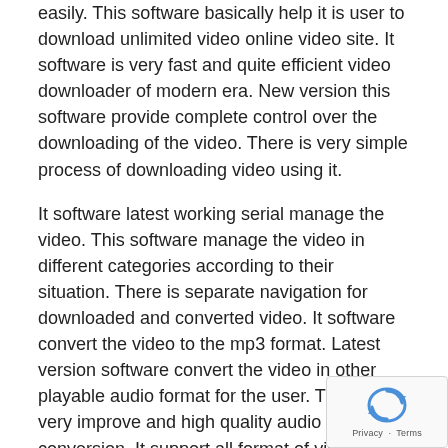easily. This software basically help it is user to download unlimited video online video site. It software is very fast and quite efficient video downloader of modern era. New version this software provide complete control over the downloading of the video. There is very simple process of downloading video using it.
It software latest working serial manage the video. This software manage the video in different categories according to their situation. There is separate navigation for downloaded and converted video. It software convert the video to the mp3 format. Latest version software convert the video in other playable audio format for the user. There is very improve and high quality audio conversion. It support all format of video and audio file.
Wondershare AllMyTube Features:
You can download videos 3 times faster.
New version Wondershare AllMyTube has a built in AV